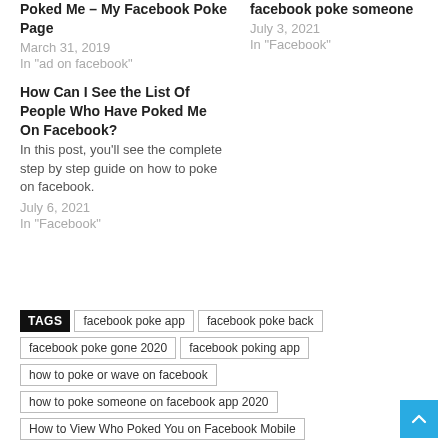Poked Me – My Facebook Poke Page
March 31, 2019
In "ad on facebook"
facebook poke someone
July 3, 2021
In "Facebook"
How Can I See the List Of People Who Have Poked Me On Facebook?
In this post, you'll see the complete step by step guide on how to poke on facebook.
July 6, 2021
In "Facebook"
TAGS  facebook poke app  facebook poke back  facebook poke gone 2020  facebook poking app  how to poke or wave on facebook  how to poke someone on facebook app 2020  How to View Who Poked You on Facebook Mobile